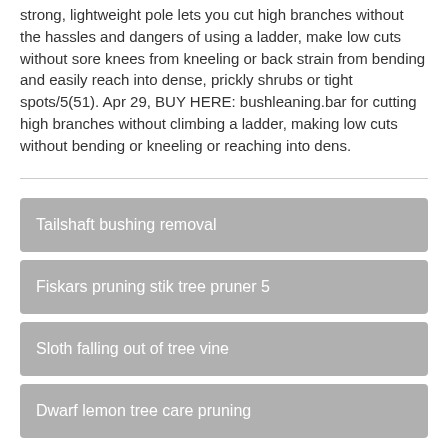strong, lightweight pole lets you cut high branches without the hassles and dangers of using a ladder, make low cuts without sore knees from kneeling or back strain from bending and easily reach into dense, prickly shrubs or tight spots/5(51). Apr 29, BUY HERE: bushleaning.bar for cutting high branches without climbing a ladder, making low cuts without bending or kneeling or reaching into dens.
Tailshaft bushing removal
Fiskars pruning stik tree pruner 5
Sloth falling out of tree vine
Dwarf lemon tree care pruning